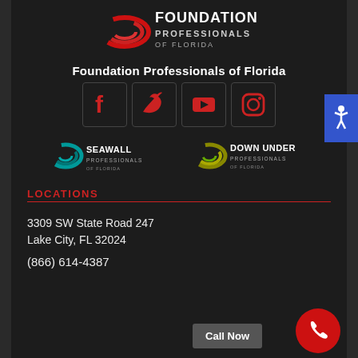[Figure (logo): Foundation Professionals of Florida logo with red swirl graphic and company name]
Foundation Professionals of Florida
[Figure (infographic): Social media icons row: Facebook, Twitter, YouTube, Instagram - all in red]
[Figure (logo): Seawall Professionals of Florida logo with teal swirl]
[Figure (logo): Down Under Professionals of Florida logo with olive/gold swirl]
LOCATIONS
3309 SW State Road 247
Lake City, FL 32024
(866) 614-4387